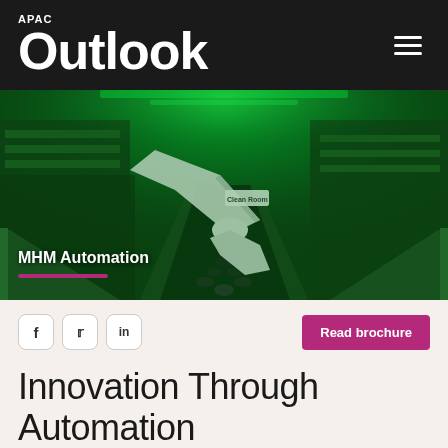APAC Outlook
[Figure (photo): Industrial automation facility with green lighting showing a robotic arm labeled 'Clean Room' working on a conveyor belt with circular objects, viewed from a low angle down the length of the production line.]
MHM Automation
[Figure (other): Social sharing buttons for Facebook, Twitter, LinkedIn, and a 'Read brochure' call-to-action button]
Innovation Through Automation